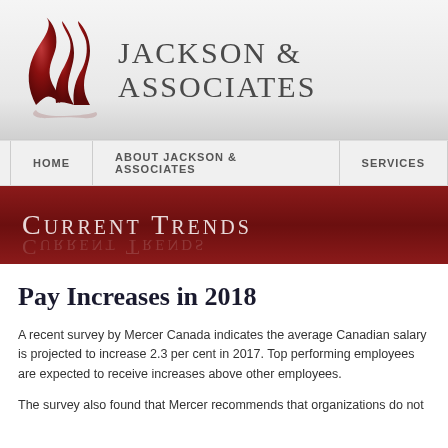[Figure (logo): Jackson & Associates logo with dark red stylized J&A monogram and company name text]
HOME | ABOUT JACKSON & ASSOCIATES | SERVICES
Current Trends
Pay Increases in 2018
A recent survey by Mercer Canada indicates the average Canadian salary is projected to increase 2.3 per cent in 2017. Top performing employees are expected to receive increases above other employees.
The survey also found that Mercer recommends that organizations do not...